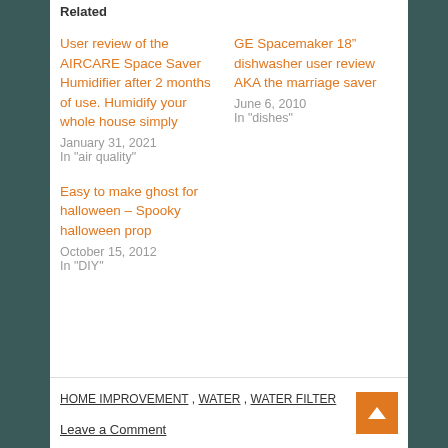Related
User review of the AIRCARE Space Saver Humidifier after 2 months of use. Humidify your whole house simply
January 31, 2021
In "air quality"
GE Spacemaker 18" dishwasher user review AKA the marriage saver
June 6, 2010
In "dishes"
Easy to make ghost for halloween – Spooky halloween prop
October 15, 2012
In "DIY"
HOME IMPROVEMENT , WATER , WATER FILTER
Leave a Comment